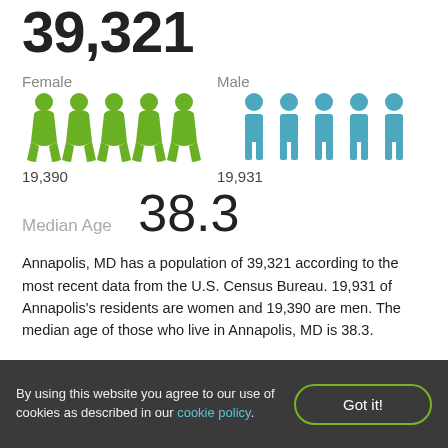39,321
[Figure (infographic): Isotype chart showing 5 green female person icons and 5 blue male person icons. Labels: Female (19,390) and Male (19,931).]
Median Age
38.3
Annapolis, MD has a population of 39,321 according to the most recent data from the U.S. Census Bureau. 19,931 of Annapolis's residents are women and 19,390 are men. The median age of those who live in Annapolis, MD is 38.3.
By using this website you agree to our use of cookies as described in our cookie policy.